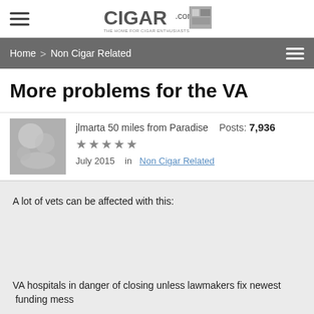[Figure (logo): Cigar.com logo with hamburger menu icon]
Home > Non Cigar Related
More problems for the VA
[Figure (photo): User avatar photo showing abstract/nature image]
jlmarta 50 miles from Paradise   Posts: 7,936
★★★★★
July 2015   in  Non Cigar Related
A lot of vets can be affected with this:
VA hospitals in danger of closing unless lawmakers fix newest  funding mess